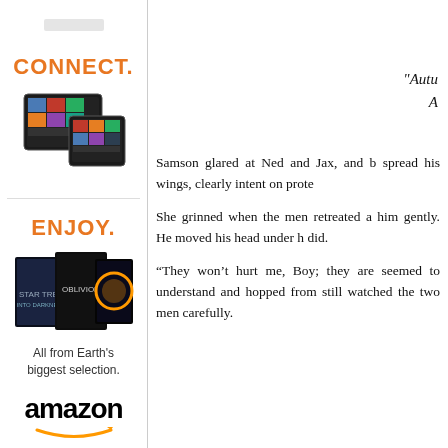[Figure (advertisement): Amazon advertisement with CONNECT. text in orange, Kindle tablets image]
[Figure (advertisement): Amazon advertisement with ENJOY. text in orange, movie covers image, 'All from Earth's biggest selection.' text, Amazon logo with arrow]
"Autu
A
Samson glared at Ned and Jax, and b spread his wings, clearly intent on prote
She grinned when the men retreated a him gently. He moved his head under h did.
“They won’t hurt me, Boy; they are seemed to understand and hopped from still watched the two men carefully.